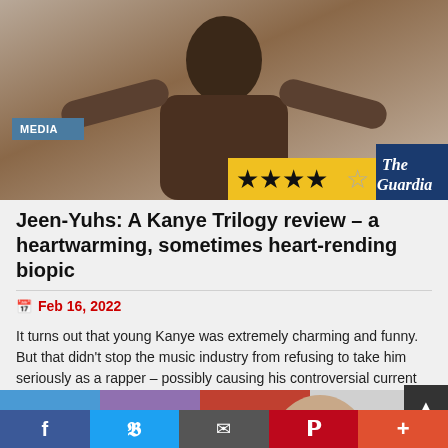[Figure (photo): Hero image showing a young Black man (Kanye West) with arms raised, wearing a grey hoodie and headphones/chain, smiling. The Guardian logo and star rating overlay are visible on the image. MEDIA badge in blue top-left. Yellow star rating box showing 4 out of 5 stars. The Guardian masthead in dark blue.]
Jeen-Yuhs: A Kanye Trilogy review – a heartwarming, sometimes heart-rending biopic
Feb 16, 2022
It turns out that young Kanye was extremely charming and funny. But that didn't stop the music industry from refusing to take him seriously as a rapper – possibly causing his controversial current persona
READ MORE
[Figure (photo): Partial view of a second article hero image at the bottom of the page showing a person with light hair against a colorful background.]
f  Twitter  Email  P  +